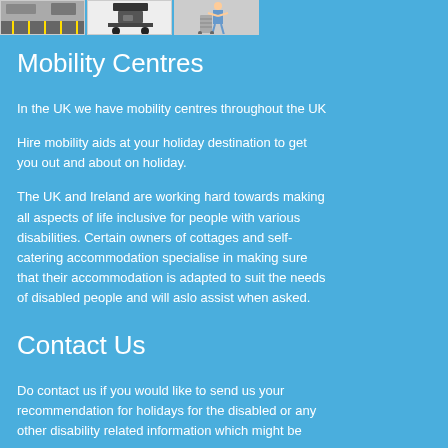[Figure (photo): Three photos in a row at the top: a parking lot with yellow lines, a mobility scooter or similar equipment, and a person with a walking aid]
Mobility Centres
In the UK we have mobility centres throughout the UK
Hire mobility aids at your holiday destination to get you out and about on holiday.
The UK and Ireland are working hard towards making all aspects of life inclusive for people with various disabilities. Certain owners of cottages and self-catering accommodation specialise in making sure that their accommodation is adapted to suit the needs of disabled people and will aslo assist when asked.
Contact Us
Do contact us if you would like to send us your recommendation for holidays for the disabled or any other disability related information which might be